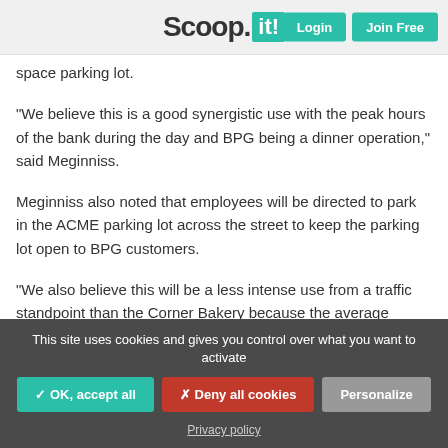Scoop.it! — Login | Join Free
space parking lot.
"We believe this is a good synergistic use with the peak hours of the bank during the day and BPG being a dinner operation," said Meginniss.
Meginniss also noted that employees will be directed to park in the ACME parking lot across the street to keep the parking lot open to BPG customers.
"We also believe this will be a less intense use from a traffic standpoint than the Corner Bakery because the average customer will stay for about one and a half hours," said McGinnis.
This site uses cookies and gives you control over what you want to activate
✓ OK, accept all   ✗ Deny all cookies   Personalize
Privacy policy